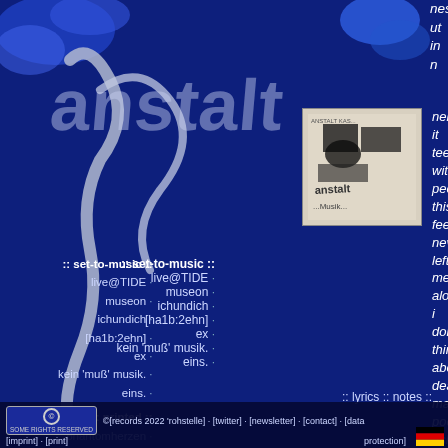[Figure (illustration): Dark blue background with abstract silver/grey artistic figure/calligraphy art and blue splash elements. Partial text 'nesome, ut in n' visible at top. Decorative website page for 'anstalt' music/art project.]
nesome,
ut
in
n
:: set-to-music ::
live@TIDE ·
museon ·
ichundich ·
[ha1b:2ehn] ·
ex ·
kein 'muß' musik. ·
eins. ·
:: printed ::
phantomherzen ·
herzwüsten ·
:: geisling ::
:: undone ::
neliness
it
teems
with
people.
this
feeling
never
left
me
alone.
i
don't
think
about
death.
many
poeple
ask
me
what
i
[Figure (illustration): Black and white album/publication cover image with text 'anstalt' visible, showing abstract artistic imagery]
:: lyrics :: notes ::
© [records 2022 'rohstelle] · [twitter] · [newsletter] · [contact] · [data protection] [imprint] · [print]